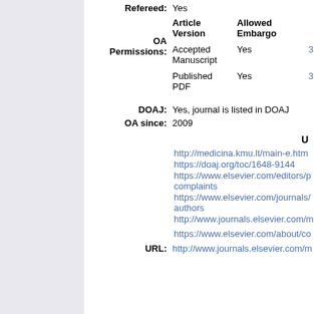Refereed: Yes
| Article Version | Allowed Embargo |  |
| --- | --- | --- |
| Accepted Manuscript | Yes | 3 |
| Published PDF | Yes | 3 |
DOAJ: Yes, journal is listed in DOAJ
OA since: 2009
U
http://medicina.kmu.lt/main-e.htm
https://doaj.org/toc/1648-9144
https://www.elsevier.com/editors/p complaints
https://www.elsevier.com/journals/ authors
http://www.journals.elsevier.com/m
https://www.elsevier.com/about/co
URL: http://www.journals.elsevier.com/m